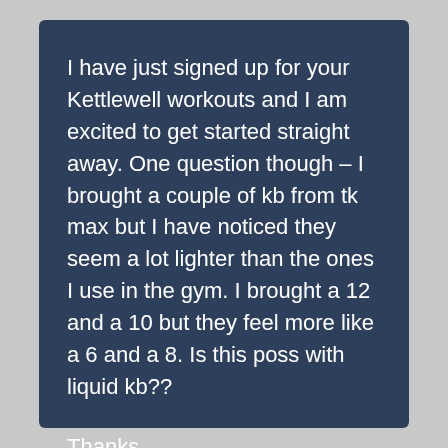I have just signed up for your Kettlewell workouts and I am excited to get started straight away. One question though – I brought a couple of kb from tk max but I have noticed they seem a lot lighter than the ones I use in the gym. I brought a 12 and a 10 but they feel more like a 6 and a 8. Is this poss with liquid kb??
Thanks